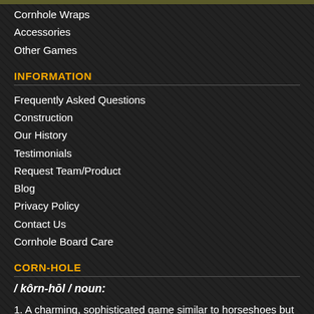Cornhole Wraps
Accessories
Other Games
INFORMATION
Frequently Asked Questions
Construction
Our History
Testimonials
Request Team/Product
Blog
Privacy Policy
Contact Us
Cornhole Board Care
CORN-HOLE
/ kôrn-hōl / noun:
1. A charming, sophisticated game similar to horseshoes but way better.